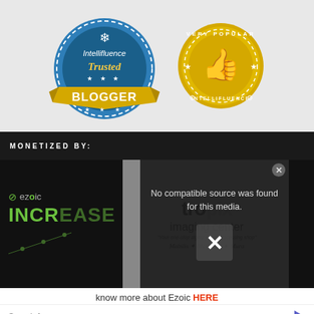[Figure (logo): Intellifluence Trusted Blogger badge - blue circular badge with gold banner reading BLOGGER]
[Figure (logo): Intellifluence Very Popular badge - gold circular badge with thumbs up icon]
MONETIZED BY:
[Figure (screenshot): Video player overlay showing 'No compatible source was found for this media.' with Tropix Imaging Center logo visible behind. Ezoic logo and INCREASE text visible on left side.]
know more about Ezoic HERE
Search for
1. ONLINE PHOTO PRINTING SERVICES
2. ELECTRONIC PAYMENT PROCESSING
Yahoo! Search | Sponsored